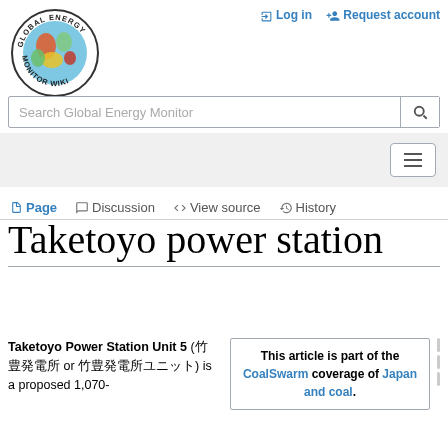[Figure (logo): Global Energy Monitor Wiki circular logo with globe graphic and text around the rim]
Log in   Request account
Search Global Energy Monitor
Page   Discussion   View source   History
Taketoyo power station
Taketoyo Power Station Unit 5 (竹豊発電所 or 竹豊発電所ユニット5) is a proposed 1,070-
This article is part of the CoalSwarm coverage of Japan and coal.